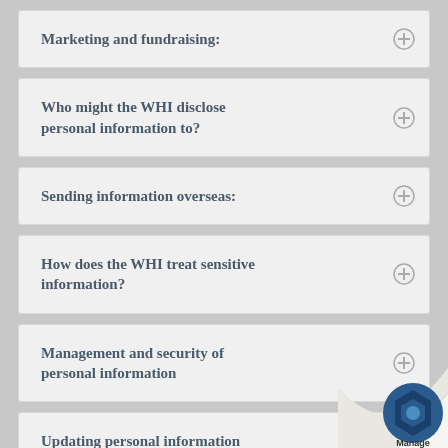Marketing and fundraising:
Who might the WHI disclose personal information to?
Sending information overseas:
How does the WHI treat sensitive information?
Management and security of personal information
Updating personal information
[Figure (logo): Page turn effect in bottom right corner with a hexagonal logo and the word 'Manage']